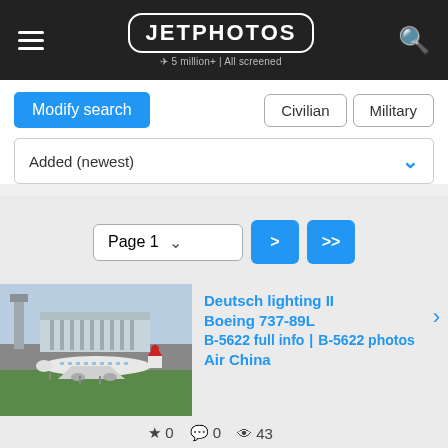JETPHOTOS — 5 million+ | All screened
Modify search
Civilian | Military
Added (newest)
Page 1
[Figure (photo): Boeing 737-89L of Air China (B-5622) on the tarmac with airport terminal building in background]
Deutsch lighting II
Boeing 737-89L
B-5622 full info | B-5622 photos
Air China
0  0  43